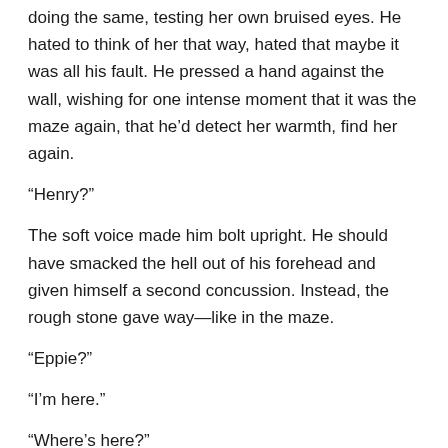doing the same, testing her own bruised eyes. He hated to think of her that way, hated that maybe it was all his fault. He pressed a hand against the wall, wishing for one intense moment that it was the maze again, that he'd detect her warmth, find her again.
“Henry?”
The soft voice made him bolt upright. He should have smacked the hell out of his forehead and given himself a second concussion. Instead, the rough stone gave way—like in the maze.
“Eppie?”
“I’m here.”
“Where’s here?”